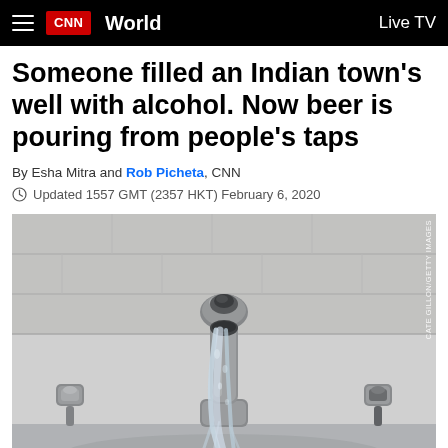CNN World  Live TV
Someone filled an Indian town's well with alcohol. Now beer is pouring from people's taps
By Esha Mitra and Rob Picheta, CNN
Updated 1557 GMT (2357 HKT) February 6, 2020
[Figure (photo): Close-up photograph of a chrome bathroom faucet running water against a white tiled background. Credit: CATE GILLON/GETTY IMAGES]